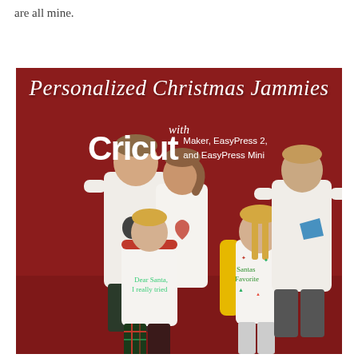are all mine.
[Figure (photo): Five children wearing personalized white Christmas pajama shirts with iron-on vinyl designs, standing in front of a dark red background. Shirts feature designs such as 'Dear Santa, I Really Tried', 'Santa's Favorite', a lobster, a superhero silhouette, and a geometric shape. The image includes an overlay title 'Personalized Christmas Jammies with Cricut Maker, EasyPress 2, and EasyPress Mini' in white script and sans-serif text.]